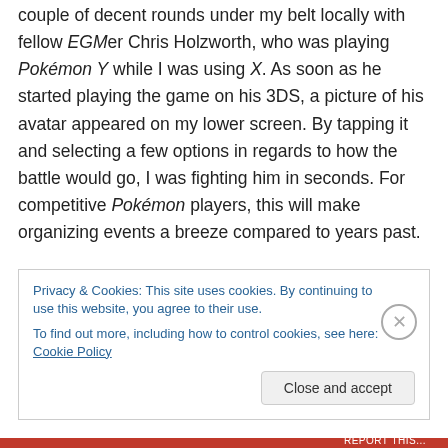couple of decent rounds under my belt locally with fellow EGMer Chris Holzworth, who was playing Pokémon Y while I was using X. As soon as he started playing the game on his 3DS, a picture of his avatar appeared on my lower screen. By tapping it and selecting a few options in regards to how the battle would go, I was fighting him in seconds. For competitive Pokémon players, this will make organizing events a breeze compared to years past.

Even if you aren't competitive, this is still one of the most worthwhile purchases you're likely to make for your 3DS.
Privacy & Cookies: This site uses cookies. By continuing to use this website, you agree to their use.
To find out more, including how to control cookies, see here: Cookie Policy
REPORT THIS...